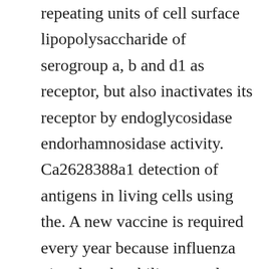repeating units of cell surface lipopolysaccharide of serogroup a, b and d1 as receptor, but also inactivates its receptor by endoglycosidase endorhamnosidase activity. Ca2628388a1 detection of antigens in living cells using the. A new vaccine is required every year because influenza virus has the ability to undergo antigenic drift. Hemagglutinin is responsible for host cell binding and subsequent fusion of viral and host membranes in the endosome after the virus has been taken up by endocytosis.
The lipopolysaccharide of serogroup a, b and d1 as...